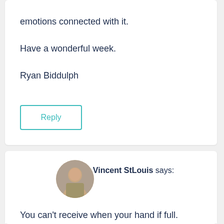☰ (hamburger menu icon)
emotions connected with it.
Have a wonderful week.
Ryan Biddulph
Reply
[Figure (photo): Circular avatar photo of Vincent StLouis standing in front of an airplane]
Vincent StLouis says:
September 13, 2010 at 10:51 am
You can't receive when your hand if full.